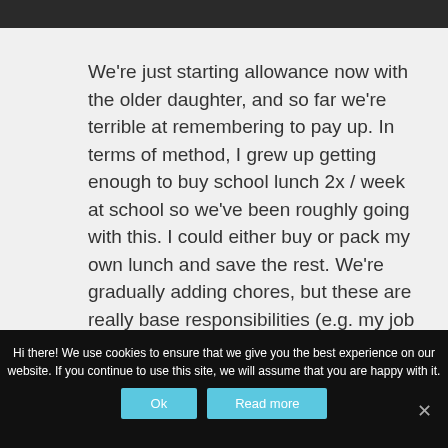We're just starting allowance now with the older daughter, and so far we're terrible at remembering to pay up. In terms of method, I grew up getting enough to buy school lunch 2x / week at school so we've been roughly going with this. I could either buy or pack my own lunch and save the rest. We're gradually adding chores, but these are really base responsibilities (e.g. my job is making
Hi there! We use cookies to ensure that we give you the best experience on our website. If you continue to use this site, we will assume that you are happy with it.